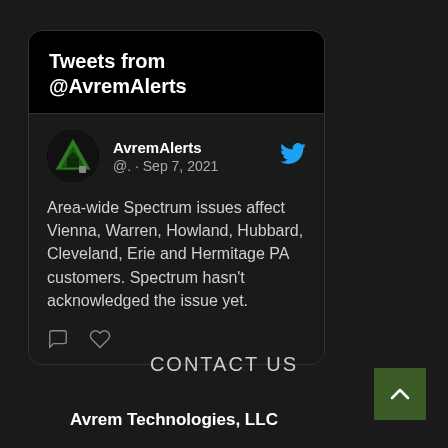Tweets from @AvremAlerts
AvremAlerts @. · Sep 7, 2021
Area-wide Spectrum issues affect Vienna, Warren, Howland, Hubbard, Cleveland, Erie and Hermitage PA customers. Spectrum hasn't acknowledged the issue yet.
CONTACT US
Avrem Technologies, LLC